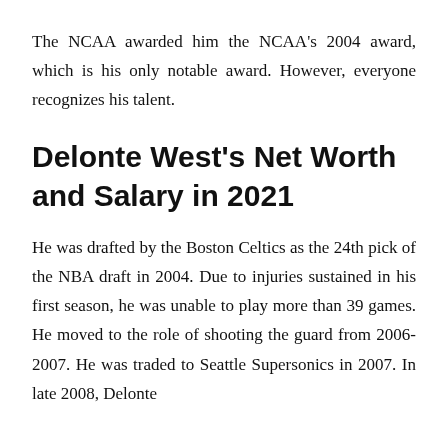The NCAA awarded him the NCAA's 2004 award, which is his only notable award. However, everyone recognizes his talent.
Delonte West's Net Worth and Salary in 2021
He was drafted by the Boston Celtics as the 24th pick of the NBA draft in 2004. Due to injuries sustained in his first season, he was unable to play more than 39 games. He moved to the role of shooting the guard from 2006-2007. He was traded to Seattle Supersonics in 2007. In late 2008, Delonte